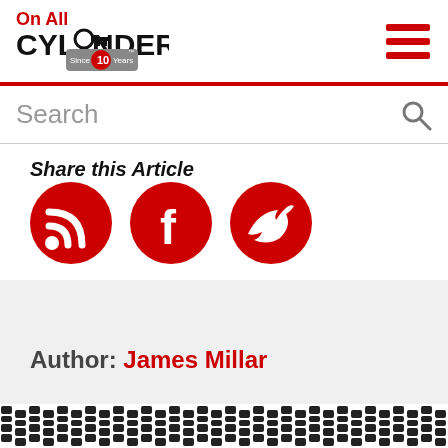[Figure (logo): On All Cylinders logo with '10 Years' badge]
[Figure (other): Hamburger menu icon with three red horizontal bars]
Search
Share this Article
[Figure (other): Three red circular social media icons: RSS feed, Facebook, Twitter]
Author: James Millar
[Figure (other): Tire track pattern footer strip]